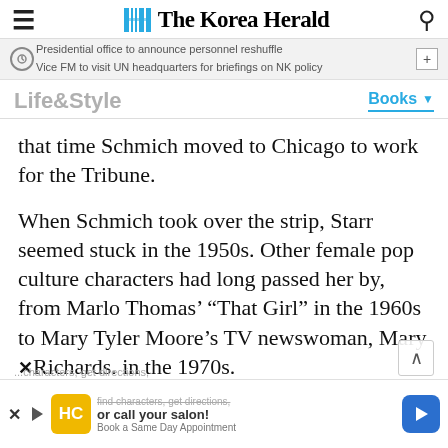The Korea Herald
Presidential office to announce personnel reshuffle
Vice FM to visit UN headquarters for briefings on NK policy
Life&Style  Books
that time Schmich moved to Chicago to work for the Tribune.
When Schmich took over the strip, Starr seemed stuck in the 1950s. Other female pop culture characters had long passed her by, from Marlo Thomas’ “That Girl” in the 1960s to Mary Tyler Moore’s TV newswoman, Mary Richards. in the 1970s.
[Figure (screenshot): Advertisement banner for a hair salon app showing HC logo, 'or call your salon!' text, and a blue navigation arrow icon]